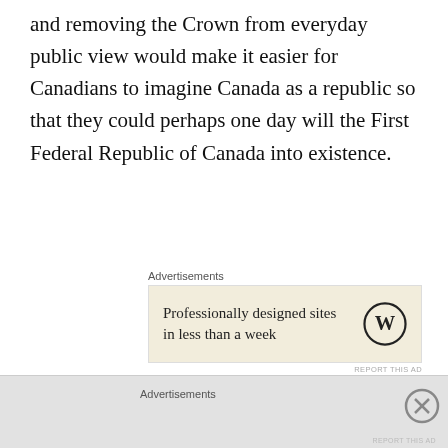and removing the Crown from everyday public view would make it easier for Canadians to imagine Canada as a republic so that they could perhaps one day will the First Federal Republic of Canada into existence.
[Figure (other): Advertisement block with WordPress logo. Text reads: 'Professionally designed sites in less than a week']
As Chris Champion showed in The Strange Demise of British Canada, these anti-monarchist neo-nationalists mean to create Canada anew. Canadian media often refer to the “British monarchy,” which implies that the one and indivisible Imperial Crown still exists and that therefore the Crown is in some sense foreign “to them.” The argument…
[Figure (other): Advertisements label at bottom of page with gray background area]